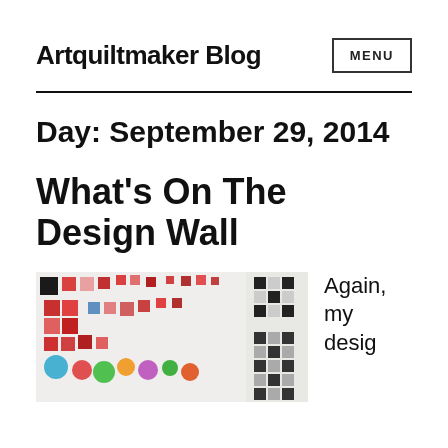Artquiltmaker Blog
Day: September 29, 2014
What's On The Design Wall
[Figure (photo): A colorful quilt design wall with patchwork squares in red, blue, teal, black, and multicolor patterns arranged on a white background]
Again, my desig